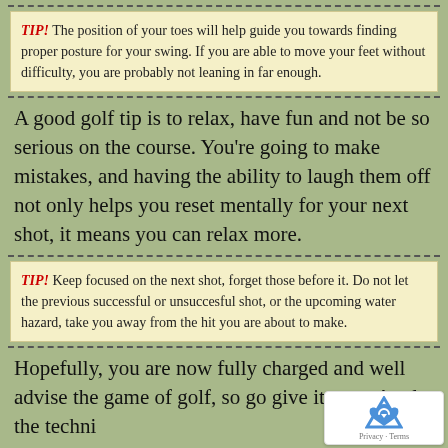TIP! The position of your toes will help guide you towards finding proper posture for your swing. If you are able to move your feet without difficulty, you are probably not leaning in far enough.
A good golf tip is to relax, have fun and not be so serious on the course. You're going to make mistakes, and having the ability to laugh them off not only helps you reset mentally for your next shot, it means you can relax more.
TIP! Keep focused on the next shot, forget those before it. Do not let the previous successful or unsuccesful shot, or the upcoming water hazard, take you away from the hit you are about to make.
Hopefully, you are now fully charged and well advi... the game of golf, so go give it a try. Apply the techn...